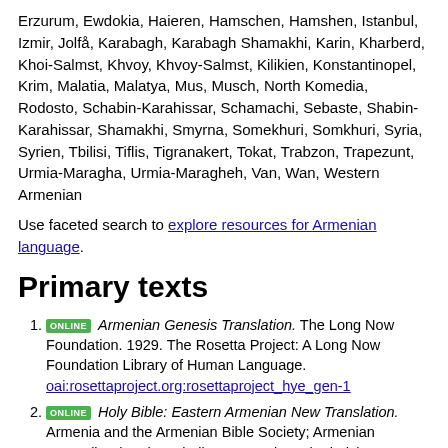Erzurum, Ewdokia, Haieren, Hamschen, Hamshen, Istanbul, Izmir, Jolfå, Karabagh, Karabagh Shamakhi, Karin, Kharberd, Khoi-Salmst, Khvoy, Khvoy-Salmst, Kilikien, Konstantinopel, Krim, Malatia, Malatya, Mus, Musch, North Komedia, Rodosto, Schabin-Karahissar, Schamachi, Sebaste, Shabin-Karahissar, Shamakhi, Smyrna, Somekhuri, Somkhuri, Syria, Syrien, Tbilisi, Tiflis, Tigranakert, Tokat, Trabzon, Trapezunt, Urmia-Maragha, Urmia-Maragheh, Van, Wan, Western Armenian
Use faceted search to explore resources for Armenian language.
Primary texts
ONLINE Armenian Genesis Translation. The Long Now Foundation. 1929. The Rosetta Project: A Long Now Foundation Library of Human Language. oai:rosettaproject.org:rosettaproject_hye_gen-1
ONLINE Holy Bible: Eastern Armenian New Translation. Armenia and the Armenian Bible Society; Armenian Apostolic Church Catholicosate; Holy Etchmiadzin. 1994. The Armenian Bible Society. oai:rosettaproject.org:rosettaproject_hye_gen-2
ONLINE Western Armenian Bible. Bible Society in Lebanon. 1996. American Bible Society. oai:rosettaproject.org:rosettaproject_hye_gen-3
ONLINE Western Armenian Bible. Bible Society in Lebanon. 1981. Armenian Mission Association of America.